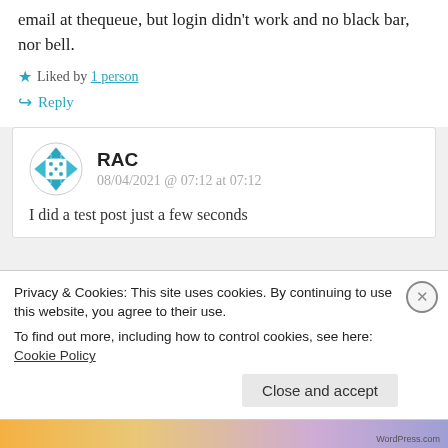email at thequeue, but login didn't work and no black bar, nor bell.
Liked by 1 person
Reply
RAC
08/04/2021 @ 07:12 at 07:12
I did a test post just a few seconds
Privacy & Cookies: This site uses cookies. By continuing to use this website, you agree to their use.
To find out more, including how to control cookies, see here: Cookie Policy
Close and accept